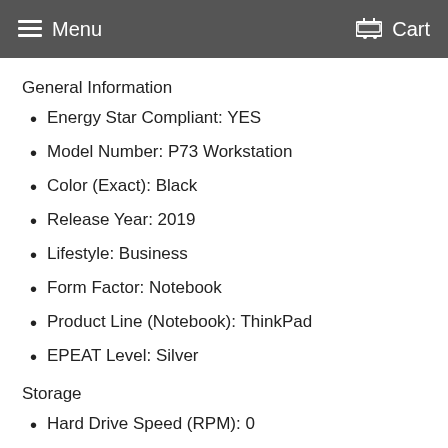Menu   Cart
General Information
Energy Star Compliant: YES
Model Number: P73 Workstation
Color (Exact): Black
Release Year: 2019
Lifestyle: Business
Form Factor: Notebook
Product Line (Notebook): ThinkPad
EPEAT Level: Silver
Storage
Hard Drive Speed (RPM): 0
Hard Drive Type: Solid State Drive (SSD)